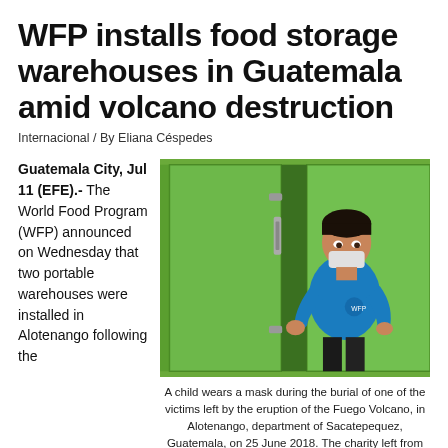WFP installs food storage warehouses in Guatemala amid volcano destruction
Internacional / By Eliana Céspedes
Guatemala City, Jul 11 (EFE).- The World Food Program (WFP) announced on Wednesday that two portable warehouses were installed in Alotenango following the
[Figure (photo): A boy wearing a blue shirt and a face mask stands in front of large green portable storage containers/warehouses.]
A child wears a mask during the burial of one of the victims left by the eruption of the Fuego Volcano, in Alotenango, department of Sacatepequez, Guatemala, on 25 June 2018. The charity left from the